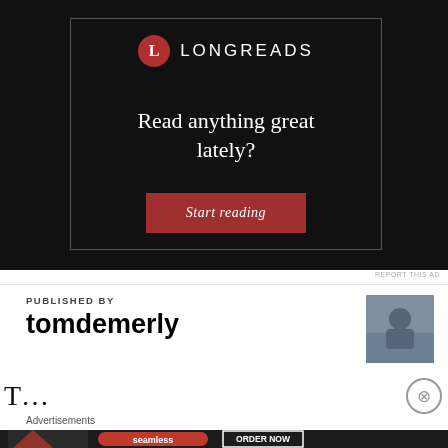[Figure (infographic): Longreads advertisement with dark background showing logo, tagline 'Read anything great lately?' and red 'Start reading' button]
REPORT THIS AD
PUBLISHED BY
tomdemerly
[Figure (photo): Small square author avatar photo]
T...
Advertisements
[Figure (infographic): Seamless food delivery advertisement banner with pizza image, seamless logo, and ORDER NOW button]